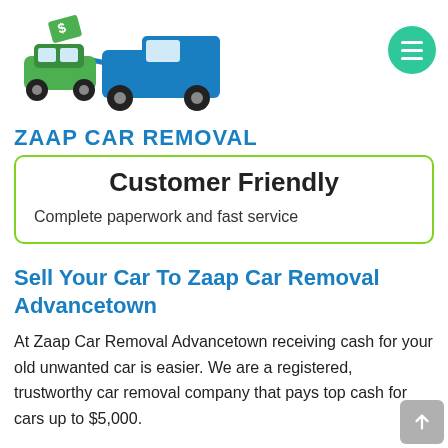[Figure (logo): Zaap Car Removal logo showing a tow truck carrying a car with a dollar sign, in green and blue colors]
ZAAP CAR REMOVAL
Customer Friendly
Complete paperwork and fast service
Sell Your Car To Zaap Car Removal Advancetown
At Zaap Car Removal Advancetown receiving cash for your old unwanted car is easier. We are a registered, trustworthy car removal company that pays top cash for cars up to $5,000.